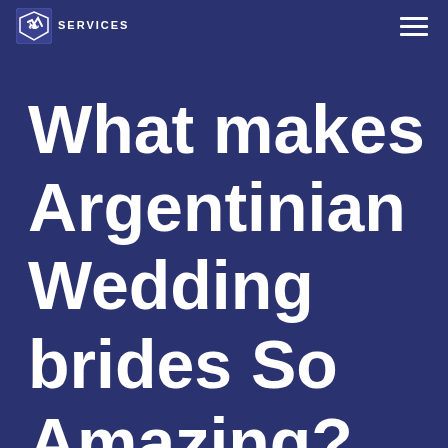[Figure (logo): Coleman Services logo with shield icon and text SERVICES]
What makes Argentinian Wedding brides So Amazing?